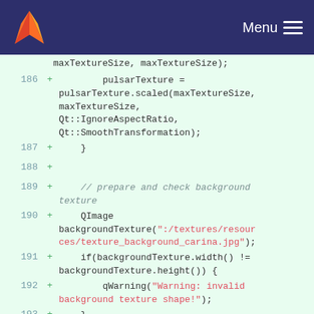Menu
Code diff showing lines 186-195 of a C++/Qt source file
186 + pulsarTexture = pulsarTexture.scaled(maxTextureSize, maxTextureSize, Qt::IgnoreAspectRatio, Qt::SmoothTransformation);
187 +     }
188 +
189 +     // prepare and check background texture
190 +     QImage backgroundTexture(":/textures/resources/texture_background_carina.jpg");
191 +     if(backgroundTexture.width() != backgroundTexture.height()) {
192 +         qWarning("Warning: invalid background texture shape!");
193 +     }
194 +     else {
195 +         double integer = 0.0;